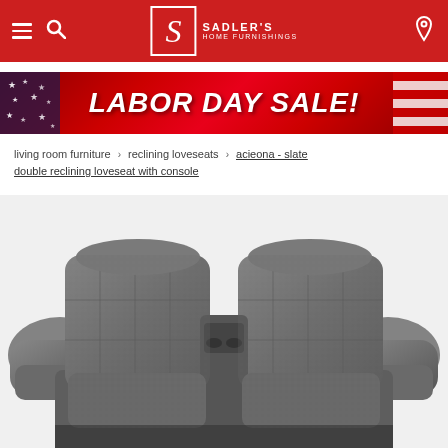Sadler's Home Furnishings
[Figure (illustration): Labor Day Sale promotional banner with American flag imagery and bold white italic text reading LABOR DAY SALE!]
living room furniture > reclining loveseats > acieona - slate double reclining loveseat with console
[Figure (photo): Acieona slate double reclining loveseat with console — gray textured fabric, two reclining seats with pillow backs, center console with cup holders]